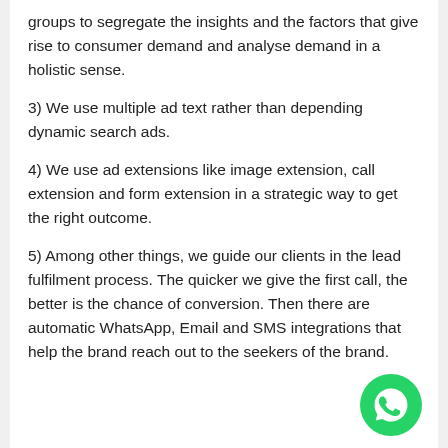groups to segregate the insights and the factors that give rise to consumer demand and analyse demand in a holistic sense.
3) We use multiple ad text rather than depending dynamic search ads.
4) We use ad extensions like image extension, call extension and form extension in a strategic way to get the right outcome.
5) Among other things, we guide our clients in the lead fulfilment process. The quicker we give the first call, the better is the chance of conversion. Then there are automatic WhatsApp, Email and SMS integrations that help the brand reach out to the seekers of the brand.
[Figure (logo): WhatsApp logo — green circle with white phone handset icon]